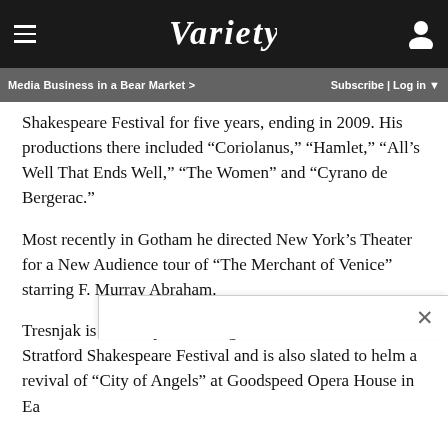Variety — Media Business in a Bear Market > | Subscribe | Log in
Shakespeare Festival for five years, ending in 2009. His productions there included “Coriolanus,” “Hamlet,” “All’s Well That Ends Well,” “The Women” and “Cyrano de Bergerac.”
Most recently in Gotham he directed New York’s Theater for a New Audience tour of “The Merchant of Venice” starring F. Murray Abraham.
Tresnjak is currently rehearsing “Titus Andronicus” at the Stratford Shakespeare Festival and is also slated to helm a revival of “City of Angels” at Goodspeed Opera House in Ea